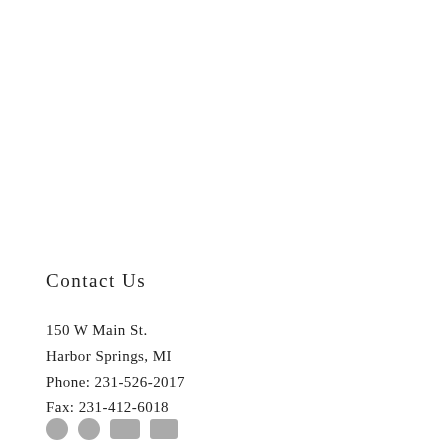Contact Us
150 W Main St.
Harbor Springs, MI
Phone: 231-526-2017
Fax: 231-412-6018
[Figure (other): Row of social media icons at bottom of page]